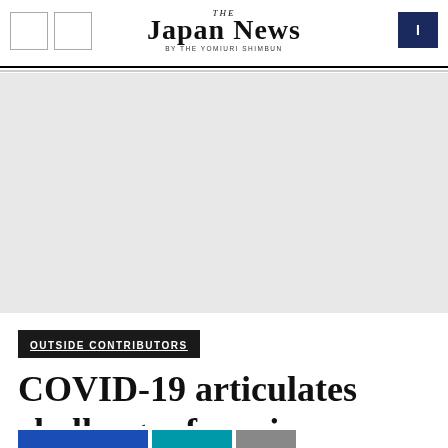THE JAPAN NEWS BY THE YOMIURI SHIMBUN
[Figure (other): Grey advertisement placeholder area]
OUTSIDE CONTRIBUTORS
COVID-19 articulates challenges for science